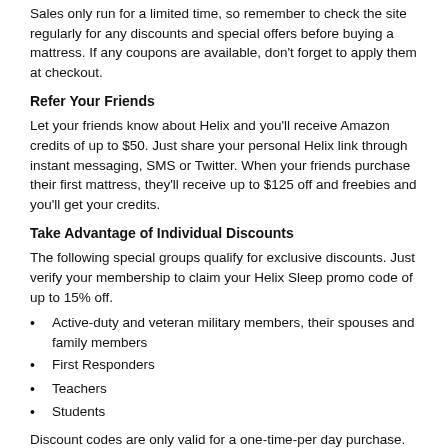Sales only run for a limited time, so remember to check the site regularly for any discounts and special offers before buying a mattress. If any coupons are available, don't forget to apply them at checkout.
Refer Your Friends
Let your friends know about Helix and you'll receive Amazon credits of up to $50. Just share your personal Helix link through instant messaging, SMS or Twitter. When your friends purchase their first mattress, they'll receive up to $125 off and freebies and you'll get your credits.
Take Advantage of Individual Discounts
The following special groups qualify for exclusive discounts. Just verify your membership to claim your Helix Sleep promo code of up to 15% off.
Active-duty and veteran military members, their spouses and family members
First Responders
Teachers
Students
Discount codes are only valid for a one-time-per day purchase. For future orders, visit the discount page again to get another code.